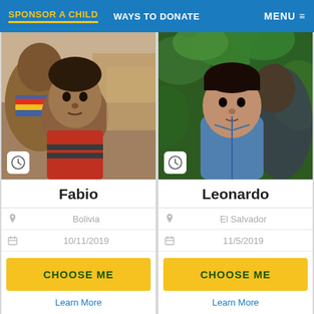SPONSOR A CHILD   WAYS TO DONATE   MENU
[Figure (photo): Young child in red sweater with adult behind, outdoor rural setting, Bolivia]
Fabio
Bolivia
10/11/2019
CHOOSE ME
Learn More
[Figure (photo): Baby/toddler in blue outfit with green leafy background, El Salvador]
Leonardo
El Salvador
11/5/2019
CHOOSE ME
Learn More